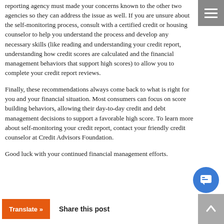reporting agency must made your concerns known to the other two agencies so they can address the issue as well.  If you are unsure about the self-monitoring process, consult with a certified credit or housing counselor to help you understand the process and develop any necessary skills (like reading and understanding your credit report, understanding how credit scores are calculated and the financial management behaviors that support high scores) to allow you to complete your credit report reviews.
Finally, these recommendations always come back to what is right for you and your financial situation. Most consumers can focus on score building behaviors, allowing their day-to-day credit and debt management decisions to support a favorable high score. To learn more about self-monitoring your credit report, contact your friendly credit counselor at Credit Advisors Foundation.
Good luck with your continued financial management efforts.
Share this post